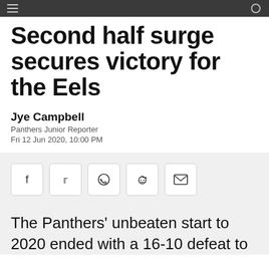Second half surge secures victory for the Eels
Jye Campbell
Panthers Junior Reporter
Fri 12 Jun 2020, 10:00 PM
[Figure (infographic): Social share buttons: Facebook, Twitter, WhatsApp, Reddit, Email]
The Panthers’ unbeaten start to 2020 ended with a 16-10 defeat to